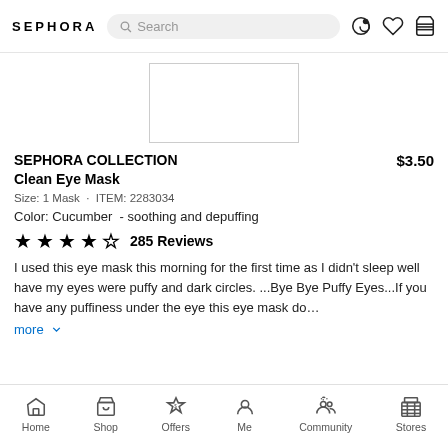SEPHORA — Search bar — icons
[Figure (photo): Product image area showing partial product photo in white box]
SEPHORA COLLECTION Clean Eye Mask
$3.50
Size: 1 Mask · ITEM: 2283034
Color: Cucumber  - soothing and depuffing
★★★★☆ 285 Reviews
I used this eye mask this morning for the first time as I didn't sleep well have my eyes were puffy and dark circles. ...Bye Bye Puffy Eyes...If you have any puffiness under the eye this eye mask do…
more
Home  Shop  Offers  Me  Community  Stores